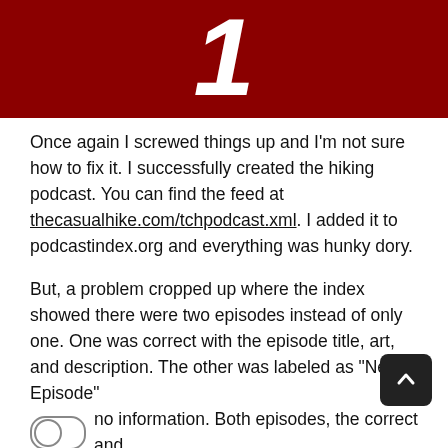[Figure (illustration): Dark red/crimson background with a white numeral '1' logo in the center — top portion of a podcast or website banner image.]
Once again I screwed things up and I'm not sure how to fix it. I successfully created the hiking podcast. You can find the feed at thecasualhike.com/tchpodcast.xml. I added it to podcastindex.org and everything was hunky dory.
But, a problem cropped up where the index showed there were two episodes instead of only one. One was correct with the episode title, art, and description. The other was labeled as "New Episode" no information. Both episodes, the correct and incorrect ones would play the first episode. I agreed